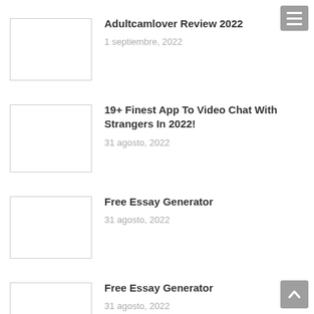[Figure (screenshot): Hamburger menu button (three horizontal lines) in grey on top-right corner]
Adultcamlover Review 2022
1 septiembre, 2022
19+ Finest App To Video Chat With Strangers In 2022!
31 agosto, 2022
Free Essay Generator
31 agosto, 2022
Free Essay Generator
31 agosto, 2022
[Figure (screenshot): Scroll-to-top button (upward arrow) in grey on bottom-right corner]